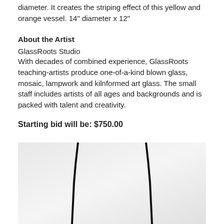diameter. It creates the striping effect of this yellow and orange vessel. 14" diameter x 12"
About the Artist
GlassRoots Studio
With decades of combined experience, GlassRoots teaching-artists produce one-of-a-kind blown glass, mosaic, lampwork and kilnformed art glass. The small staff includes artists of all ages and backgrounds and is packed with talent and creativity.
Starting bid will be: $750.00
[Figure (photo): Photo of a necklace with a black cord on a white/light gray display stand, photographed from above showing the cord draped down.]